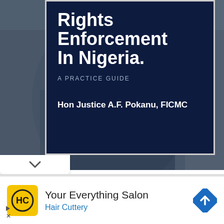[Figure (photo): Screenshot of a book cover for 'Rights Enforcement In Nigeria: A Practice Guide' by Hon Justice A.F. Pokanu, FICMC, shown against a dark blue cover with a person holding it in the background. Below is an advertisement for Hair Cuttery salon.]
Rights Enforcement In Nigeria.
A PRACTICE GUIDE
Hon Justice A.F. Pokanu, FICMC
Your Everything Salon
Hair Cuttery